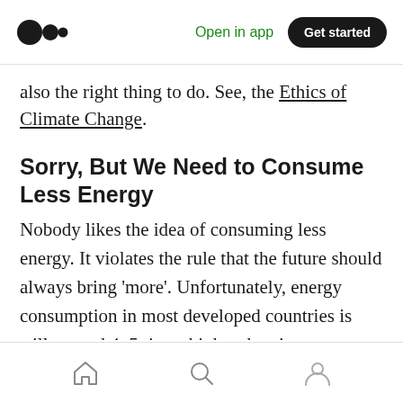Open in app | Get started
also the right thing to do. See, the Ethics of Climate Change.
Sorry, But We Need to Consume Less Energy
Nobody likes the idea of consuming less energy. It violates the rule that the future should always bring 'more'. Unfortunately, energy consumption in most developed countries is still around 4–5 times higher than in most developing countries. This indicates that as developing countries become more developed (with more factories,
Home | Search | Profile